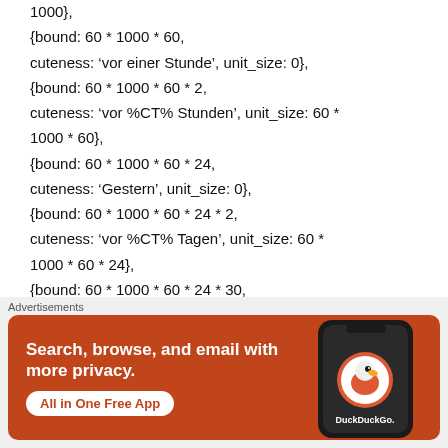1000},
{bound: 60 * 1000 * 60,
cuteness: 'vor einer Stunde', unit_size: 0},
{bound: 60 * 1000 * 60 * 2,
cuteness: 'vor %CT% Stunden', unit_size: 60 * 1000 * 60},
{bound: 60 * 1000 * 60 * 24,
cuteness: 'Gestern', unit_size: 0},
{bound: 60 * 1000 * 60 * 24 * 2,
cuteness: 'vor %CT% Tagen', unit_size: 60 * 1000 * 60 * 24},
{bound: 60 * 1000 * 60 * 24 * 30,
Advertisements
[Figure (screenshot): DuckDuckGo advertisement banner with orange background showing 'Search, browse, and email with more privacy. All in One Free App' text with a phone mockup showing DuckDuckGo logo on the right.]